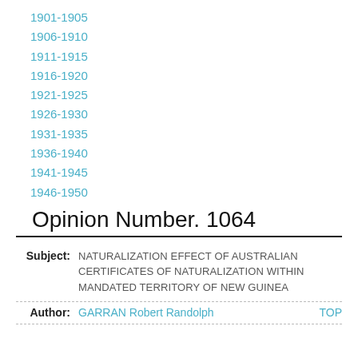1901-1905
1906-1910
1911-1915
1916-1920
1921-1925
1926-1930
1931-1935
1936-1940
1941-1945
1946-1950
Opinion Number. 1064
Subject: NATURALIZATION EFFECT OF AUSTRALIAN CERTIFICATES OF NATURALIZATION WITHIN MANDATED TERRITORY OF NEW GUINEA
Author: GARRAN Robert Randolph